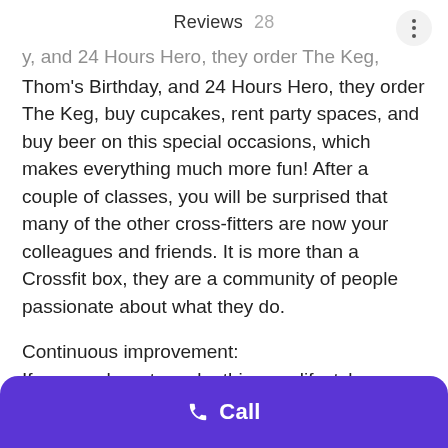Reviews 28
Thom's Birthday, and 24 Hours Hero, they order The Keg, buy cupcakes, rent party spaces, and buy beer on this special occasions, which makes everything much more fun! After a couple of classes, you will be surprised that many of the other cross-fitters are now your colleagues and friends. It is more than a Crossfit box, they are a community of people passionate about what they do.

Continuous improvement:
If you are here to make this your lifestyle, your profession, or just to get fit, I am sure that you will find anything you need. The coaches will help you seek your best version
Call